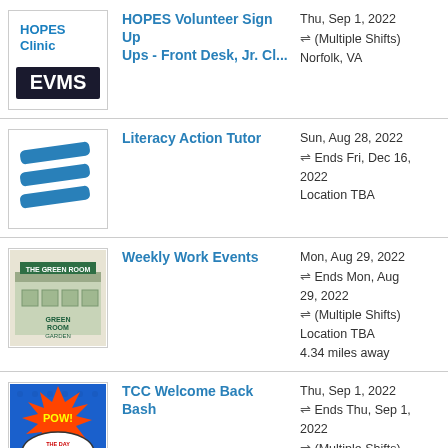[Figure (logo): HOPES Clinic / EVMS logo]
HOPES Volunteer Sign Ups - Front Desk, Jr. Cl...
Thu, Sep 1, 2022
⇌ (Multiple Shifts)
Norfolk, VA
[Figure (logo): Literacy Action blue stripes logo]
Literacy Action Tutor
Sun, Aug 28, 2022
⇌ Ends Fri, Dec 16, 2022
Location TBA
[Figure (photo): Green Room Garden restaurant photo]
Weekly Work Events
Mon, Aug 29, 2022
⇌ Ends Mon, Aug 29, 2022
⇌ (Multiple Shifts)
Location TBA
4.34 miles away
[Figure (illustration): TCC Welcome Back Bash comic-style illustration]
TCC Welcome Back Bash
Thu, Sep 1, 2022
⇌ Ends Thu, Sep 1, 2022
⇌ (Multiple Shifts)
9 Private, Tulsa, OK